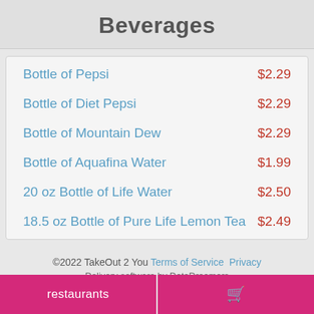Beverages
Bottle of Pepsi   $2.29
Bottle of Diet Pepsi   $2.29
Bottle of Mountain Dew   $2.29
Bottle of Aquafina Water   $1.99
20 oz Bottle of Life Water   $2.50
18.5 oz Bottle of Pure Life Lemon Tea   $2.49
©2022 TakeOut 2 You Terms of Service Privacy
Delivery software by DataDreamers